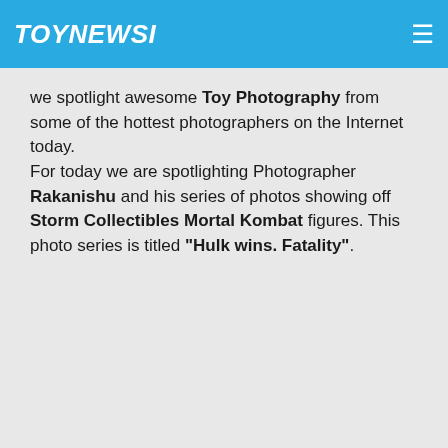TOYNEWSI
we spotlight awesome Toy Photography from some of the hottest photographers on the Internet today.
For today we are spotlighting Photographer Rakanishu and his series of photos showing off Storm Collectibles Mortal Kombat figures. This photo series is titled "Hulk wins. Fatality".